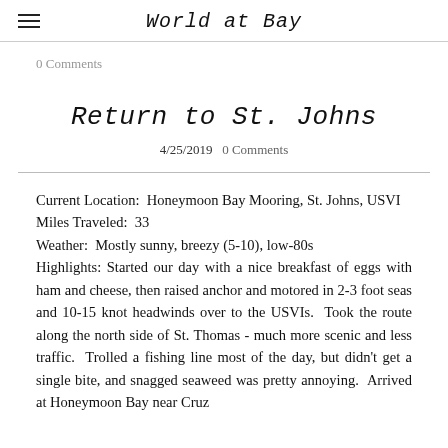World at Bay
0 Comments
Return to St. Johns
4/25/2019   0 Comments
Current Location:  Honeymoon Bay Mooring, St. Johns, USVI
Miles Traveled:  33
Weather:  Mostly sunny, breezy (5-10), low-80s
Highlights: Started our day with a nice breakfast of eggs with ham and cheese, then raised anchor and motored in 2-3 foot seas and 10-15 knot headwinds over to the USVIs.  Took the route along the north side of St. Thomas - much more scenic and less traffic.  Trolled a fishing line most of the day, but didn't get a single bite, and snagged seaweed was pretty annoying.  Arrived at Honeymoon Bay near Cruz